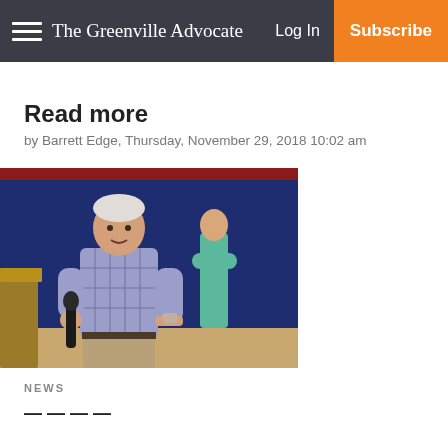The Greenville Advocate  Log In  Subscribe
Read more
by Barrett Edge, Thursday, November 29, 2018 10:02 am
[Figure (photo): A man in a plaid shirt holding a microphone speaking at an event, with another person in a teal shirt visible in the background against a blue wall.]
NEWS